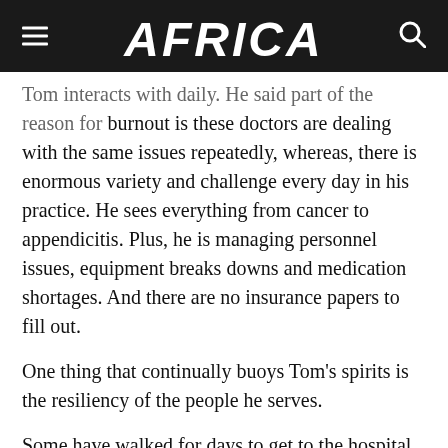AFRICA
Tom interacts with daily. He said part of the reason for burnout is these doctors are dealing with the same issues repeatedly, whereas, there is enormous variety and challenge every day in his practice. He sees everything from cancer to appendicitis. Plus, he is managing personnel issues, equipment breaks downs and medication shortages. And there are no insurance papers to fill out.
One thing that continually buoys Tom’s spirits is the resiliency of the people he serves.
Some have walked for days to get to the hospital. When he feels discouraged and frustrated, or when a child dies, he reminds himself why he is there: “I’m a